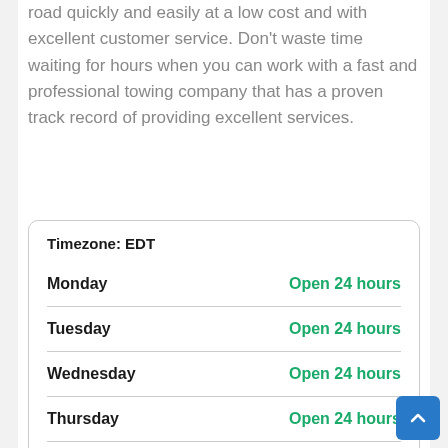road quickly and easily at a low cost and with excellent customer service. Don't waste time waiting for hours when you can work with a fast and professional towing company that has a proven track record of providing excellent services.
| Day | Hours |
| --- | --- |
| Monday | Open 24 hours |
| Tuesday | Open 24 hours |
| Wednesday | Open 24 hours |
| Thursday | Open 24 hours |
| Friday | Open 24 hours |
| Saturday | Open 24 hours |